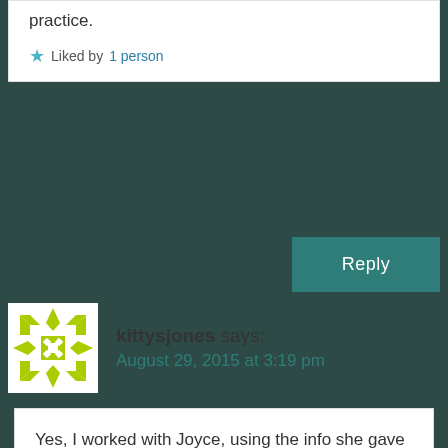practice.
Liked by 1 person
Reply
kittysjones says:
August 29, 2015 at 3:19 pm
Yes, I worked with Joyce, using the info she gave me to write pieces that will help people undergoing assessments. Here's one – https://kittysjones.wordpress.com/2013/04/18/what-you-need-to-know-about-atos-assessments/